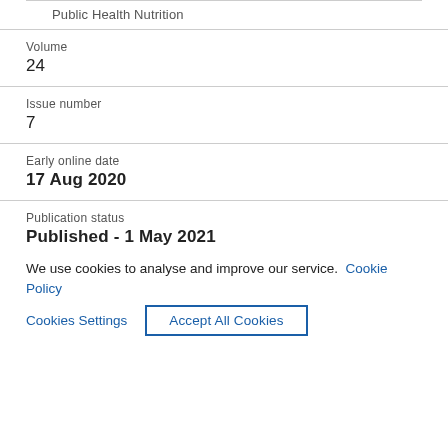Public Health Nutrition
Volume
24
Issue number
7
Early online date
17 Aug 2020
Publication status
Published - 1 May 2021
Bibliographical note
Publisher Copyright:
We use cookies to analyse and improve our service. Cookie Policy
Cookies Settings    Accept All Cookies